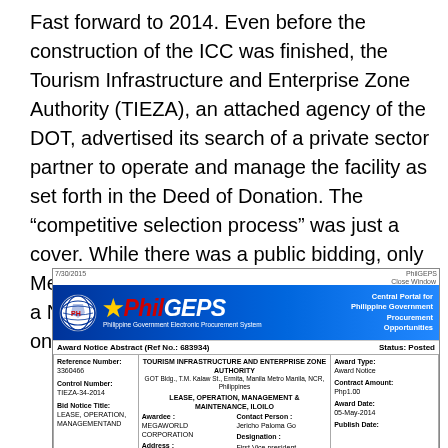Fast forward to 2014. Even before the construction of the ICC was finished, the Tourism Infrastructure and Enterprise Zone Authority (TIEZA), an attached agency of the DOT, advertised its search of a private sector partner to operate and manage the facility as set forth in the Deed of Donation. The “competitive selection process” was just a cover. While there was a public bidding, only Megaworld took part. Naturally, TIEZA issued a Notice of Award on the PhilGEPS website on May 5, 2014.
[Figure (screenshot): Screenshot of the PhilGEPS (Philippine Government Electronic Procurement System) website showing an Award Notice Abstract with reference number 683934. The notice is for Tourism Infrastructure and Enterprise Zone Authority regarding Lease, Operation, Management & Maintenance in Iloilo, awarded to Megaworld Corporation with a contract amount of Php1.00, award date 05-May-2014.]